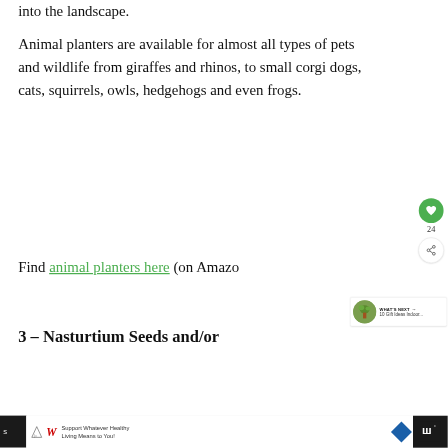into the landscape.
Animal planters are available for almost all types of pets and wildlife from giraffes and rhinos, to small corgi dogs, cats, squirrels, owls, hedgehogs and even frogs.
Find animal planters here (on Amazo
3 – Nasturtium Seeds and/or
[Figure (other): Floating social widget with heart icon (green circle) showing count 24, and share icon below]
[Figure (other): What's Next card showing a plant image thumbnail with text '10 Gift Ideas Indoor...']
[Figure (other): Advertisement banner: Walgreens 'Support Whatever Healthy Living Means to You!' with navigation diamond and weather icon on dark background sides]